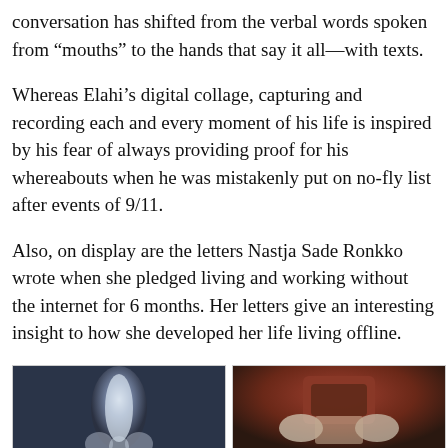conversation has shifted from the verbal words spoken from “mouths” to the hands that say it all—with texts.
Whereas Elahi’s digital collage, capturing and recording each and every moment of his life is inspired by his fear of always providing proof for his whereabouts when he was mistakenly put on no-fly list after events of 9/11.
Also, on display are the letters Nastja Sade Ronkko wrote when she pledged living and working without the internet for 6 months. Her letters give an interesting insight to how she developed her life living offline.
[Figure (photo): Two photos side by side: left shows glowing white ghostly figure/hand sculpture on dark blue background; right shows hands holding a small object with brownish-red and dark background.]